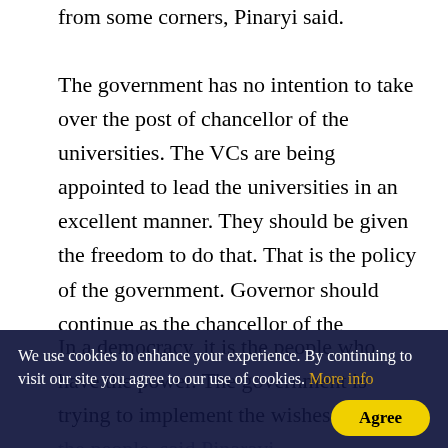from some corners, Pinaryi said.
The government has no intention to take over the post of chancellor of the universities. The VCs are being appointed to lead the universities in an excellent manner. They should be given the freedom to do that. That is the policy of the government. Governor should continue as the chancellor of the universities. We think that he would withdraw his decision to relinquish that position, said Pinarayi.
In a democracy, it is the people who have the power. The government is trying to implement the wishes of the people, said Pinarayi.
We use cookies to enhance your experience. By continuing to visit our site you agree to our use of cookies. More info Agree